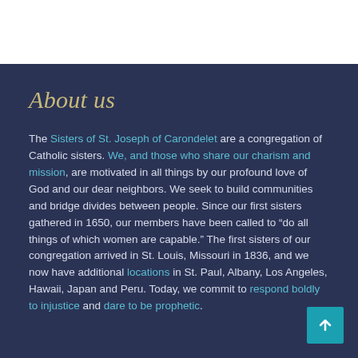About us
The Sisters of St. Joseph of Carondelet are a congregation of Catholic sisters. We, and those who share our charism and mission, are motivated in all things by our profound love of God and our dear neighbors. We seek to build communities and bridge divides between people. Since our first sisters gathered in 1650, our members have been called to “do all things of which women are capable.” The first sisters of our congregation arrived in St. Louis, Missouri in 1836, and we now have additional locations in St. Paul, Albany, Los Angeles, Hawaii, Japan and Peru. Today, we commit to respond boldly to injustice and dare to be prophetic.